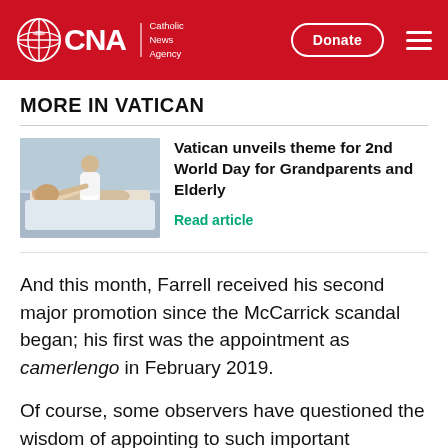CNA | Catholic News Agency — Donate
MORE IN VATICAN
[Figure (photo): Pope Francis bending over to visit an elderly person lying in a hospital bed]
Vatican unveils theme for 2nd World Day for Grandparents and Elderly
Read article
And this month, Farrell received his second major promotion since the McCarrick scandal began; his first was the appointment as camerlengo in February 2019.
Of course, some observers have questioned the wisdom of appointing to such important leadership positions a person who failed to hear,